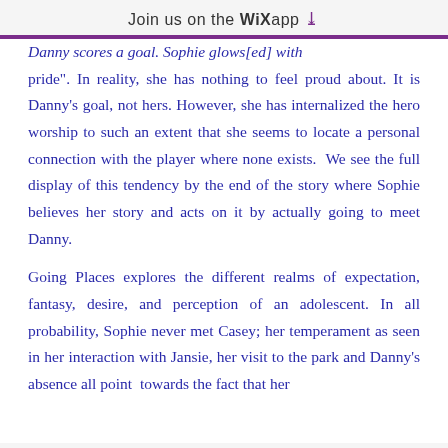Join us on the WiX app ↓
Danny scores a goal. Sophie glows[ed] with pride". In reality, she has nothing to feel proud about. It is Danny's goal, not hers. However, she has internalized the hero worship to such an extent that she seems to locate a personal connection with the player where none exists. We see the full display of this tendency by the end of the story where Sophie believes her story and acts on it by actually going to meet Danny.

Going Places explores the different realms of expectation, fantasy, desire, and perception of an adolescent. In all probability, Sophie never met Casey; her temperament as seen in her interaction with Jansie, her visit to the park and Danny's absence all point towards the fact that her